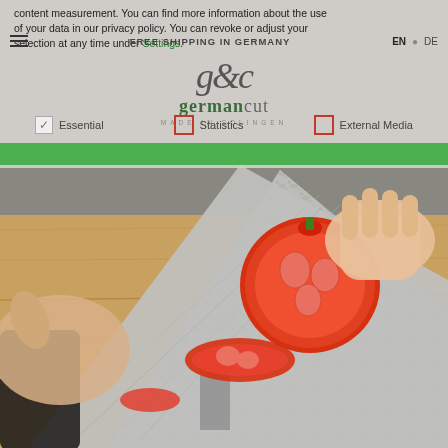content measurement. You can find more information about the use of your data in our privacy policy. You can revoke or adjust your selection at any time under Settings.
FREE SHIPPING IN GERMANY
[Figure (logo): GermanCut logo with decorative script 'g&c' and text 'germancut MADE IN SOLINGEN']
Essential (checked)
Statistics (unchecked)
External Media (unchecked)
[Figure (photo): Hands cutting a tomato with a Damascus steel chef knife on a wooden cutting board]